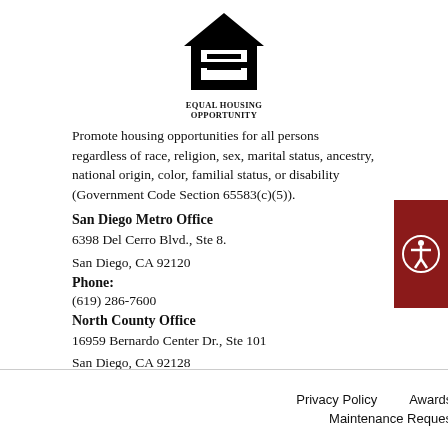[Figure (logo): Equal Housing Opportunity logo — house silhouette with equal sign, text 'EQUAL HOUSING OPPORTUNITY']
Promote housing opportunities for all persons regardless of race, religion, sex, marital status, ancestry, national origin, color, familial status, or disability (Government Code Section 65583(c)(5)).
San Diego Metro Office
6398 Del Cerro Blvd., Ste 8.
San Diego, CA 92120
Phone:
(619) 286-7600
North County Office
16959 Bernardo Center Dr., Ste 101
San Diego, CA 92128
Phone:
(858) 487-4004
Privacy Policy    Awards & Accolades    Contact Us    Maintenance Request    Become a Vendor